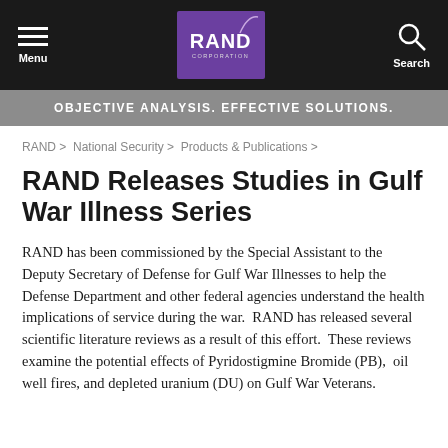Menu | RAND Corporation | Search
OBJECTIVE ANALYSIS. EFFECTIVE SOLUTIONS.
RAND > National Security > Products & Publications >
RAND Releases Studies in Gulf War Illness Series
RAND has been commissioned by the Special Assistant to the Deputy Secretary of Defense for Gulf War Illnesses to help the Defense Department and other federal agencies understand the health implications of service during the war.  RAND has released several scientific literature reviews as a result of this effort.  These reviews examine the potential effects of Pyridostigmine Bromide (PB),  oil well fires, and depleted uranium (DU) on Gulf War Veterans.